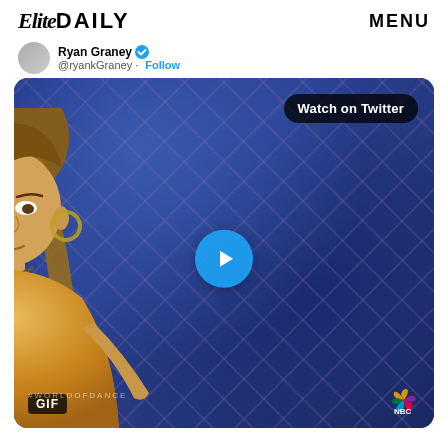Elite DAILY   MENU
Ryan Graney @ryankGraney · Follow
[Figure (screenshot): A screenshot of a Twitter/social media embedded video showing a woman with a high ponytail in a gold glittery outfit, seated at what appears to be a judging panel for World of Dance (NBC). A blue play button is centered on the video. A 'Watch on Twitter' badge appears in the top right. A 'GIF' label is in the bottom left and the NBC peacock logo is in the bottom right. The background shows a blue diamond-patterned stage set.]